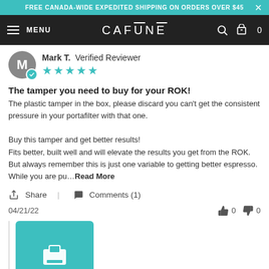FREE CANADA-WIDE EXPEDITED SHIPPING ON ORDERS OVER $45
MENU   CAFŪNĒ   0
Mark T. Verified Reviewer
The tamper you need to buy for your ROK!
The plastic tamper in the box, please discard you can't get the consistent pressure in your portafilter with that one.

Buy this tamper and get better results!
Fits better, built well and will elevate the results you get from the ROK.
But always remember this is just one variable to getting better espresso.
While you are pu…Read More
Share | Comments (1)
04/21/22
Store Owner
Thanks for the kind review, Mark! ❤ Workflow